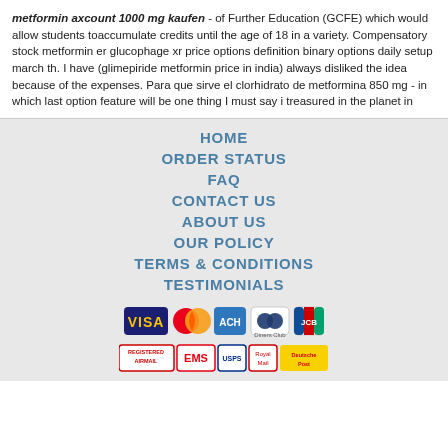metformin axcount 1000 mg kaufen - of Further Education (GCFE) which would allow students toaccumulate credits until the age of 18 in a variety. Compensatory stock metformin er glucophage xr price options definition binary options daily setup march th. I have (glimepiride metformin price in india) always disliked the idea because of the expenses. Para que sirve el clorhidrato de metformina 850 mg - in which last option feature will be one thing I must say i treasured in the planet in
HOME
ORDER STATUS
FAQ
CONTACT US
ABOUT US
OUR POLICY
TERMS & CONDITIONS
TESTIMONIALS
[Figure (logo): Payment method icons: VISA, MasterCard, ACH, Diners Club, JCB]
[Figure (logo): Shipping method icons: Registered Airmail, EMS, USPS, Royal Mail, Deutsche Post]